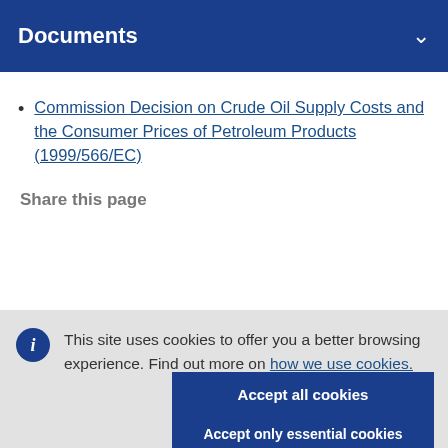Documents
Commission Decision on Crude Oil Supply Costs and the Consumer Prices of Petroleum Products (1999/566/EC)
Share this page
This site uses cookies to offer you a better browsing experience. Find out more on how we use cookies.
Accept all cookies
Accept only essential cookies